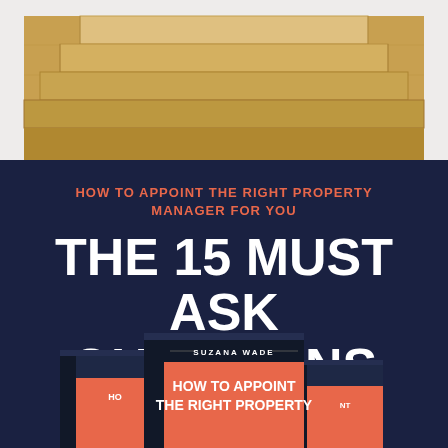[Figure (photo): Photo of wooden stair steps and hardwood floor with white wainscoting panels in the background]
HOW TO APPOINT THE RIGHT PROPERTY MANAGER FOR YOU
THE 15 MUST ASK QUESTIONS
[Figure (illustration): Book cover showing 'How to Appoint the Right Property Manager' by Suzana Wade, displayed as three overlapping books with dark navy and coral/red cover design]